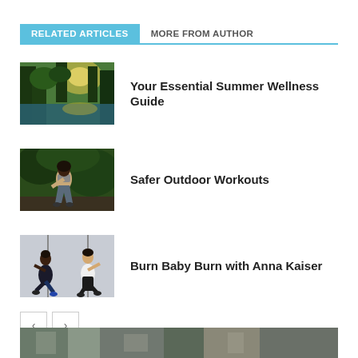RELATED ARTICLES
MORE FROM AUTHOR
[Figure (photo): Forest scene with trees and sunlight reflecting on water]
Your Essential Summer Wellness Guide
[Figure (photo): Woman exercising outdoors with trees in background]
Safer Outdoor Workouts
[Figure (photo): Two women doing aerial/suspension workout exercises]
Burn Baby Burn with Anna Kaiser
[Figure (photo): Bottom strip image partially visible at bottom of page]